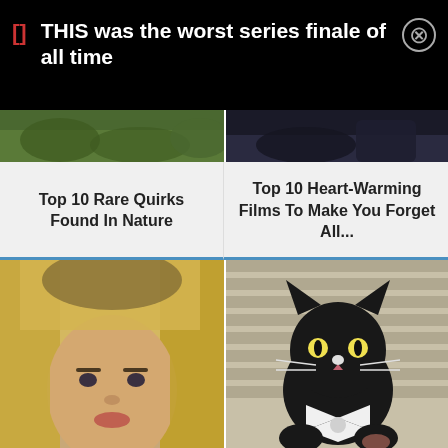THIS was the worst series finale of all time
[Figure (photo): Partial top image left - greenery/nature scene cropped]
[Figure (photo): Partial top image right - dark scene with person/car]
Top 10 Rare Quirks Found In Nature
Top 10 Heart-Warming Films To Make You Forget All...
[Figure (photo): Woman with blonde hair close-up portrait]
[Figure (photo): Black cat sitting upright wearing bow tie]